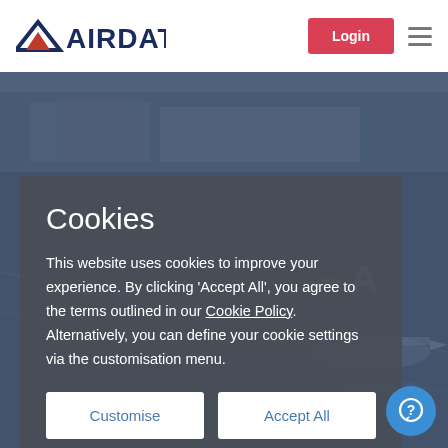AIRDAT | Login
[Figure (photo): Aerial view of airport tarmac with planes and terminal buildings, dark blue tinted overlay]
Cookies
This website uses cookies to improve your experience. By clicking 'Accept All', you agree to the terms outlined in our Cookie Policy. Alternatively, you can define your cookie settings via the customisation menu.
Customise | Accept All